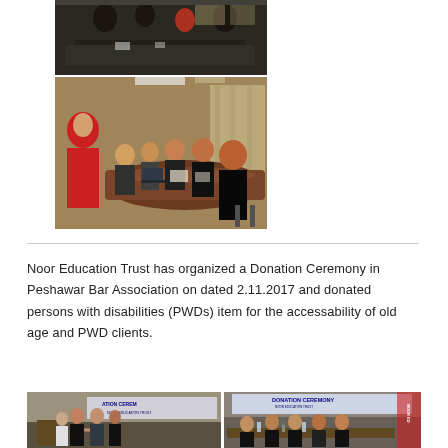[Figure (photo): Two photos stacked vertically: top photo shows a meeting/conference scene with people seated around a table in a dark room; bottom photo shows a woman in red headscarf standing and presenting to a group of men seated around a conference table.]
Noor Education Trust has organized a Donation Ceremony in Peshawar Bar Association on dated 2.11.2017 and donated persons with disabilities (PWDs) item for the accessability of old age and PWD clients.
[Figure (photo): Two side-by-side photos from a Donation Ceremony event: left photo shows people shaking hands on a stage with a banner reading 'ATION CEREM'; right photo shows a panel of seated men at a table with a banner reading 'DONATION CEREMONY'.]